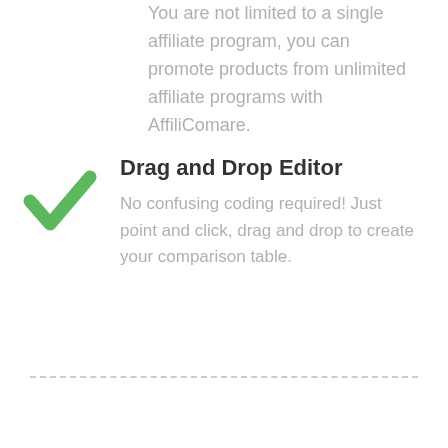You are not limited to a single affiliate program, you can promote products from unlimited affiliate programs with AffiliComare.
[Figure (illustration): Green checkmark icon]
Drag and Drop Editor
No confusing coding required! Just point and click, drag and drop to create your comparison table.